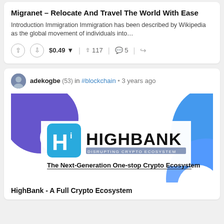Migranet – Relocate And Travel The World With Ease
Introduction Immigration Immigration has been described by Wikipedia as the global movement of individuals into…
$0.49 ▾  ↑ 117  💬 5  ↗
adekogbe (53) in #blockchain • 3 years ago
[Figure (logo): HighBank logo with text 'DISRUPTING CRYPTO ECOSYSTEM' and tagline 'The Next-Generation One-stop Crypto Ecosystem']
HighBank - A Full Crypto Ecosystem